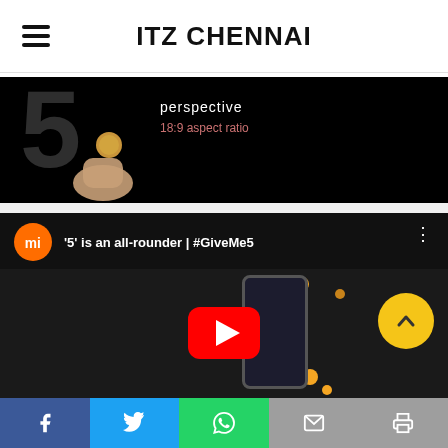ITZ CHENNAI
[Figure (screenshot): Dark video thumbnail showing a large numeral 5 with text 'perspective' and '18:9 aspect ratio', and a hand holding a coin]
[Figure (screenshot): YouTube video embed showing Xiaomi Mi logo, title '5' is an all-rounder | #GiveMe5, with play button over dark background with orange dots and phone image, and a yellow scroll-to-top button]
[Figure (infographic): Social share bar with Facebook, Twitter, WhatsApp, Email, and Print buttons]